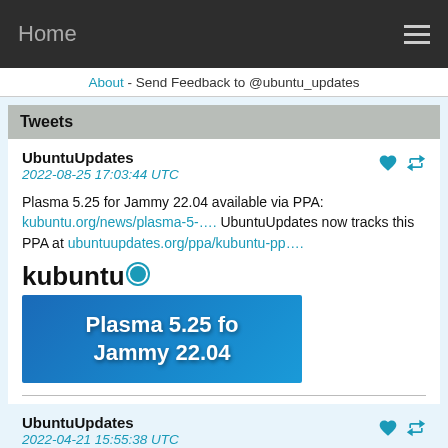Home
About - Send Feedback to @ubuntu_updates
Tweets
UbuntuUpdates
2022-08-25 17:03:44 UTC

Plasma 5.25 for Jammy 22.04 available via PPA: kubuntu.org/news/plasma-5-…. UbuntuUpdates now tracks this PPA at ubuntuupdates.org/ppa/kubuntu-pp….
[Figure (screenshot): Kubuntu logo and Plasma 5.25 for Jammy 22.04 banner image]
UbuntuUpdates
2022-04-21 15:55:38 UTC

Ubuntu 22.04 Jammy Jellyfish is here